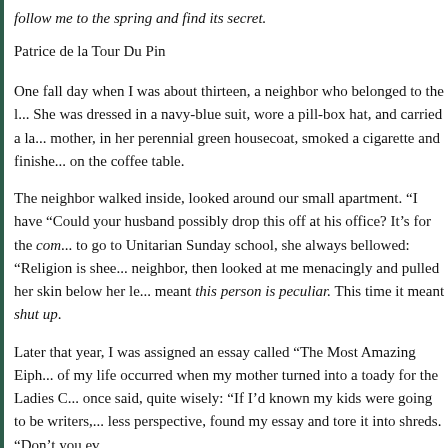follow me to the spring and find its secret.
Patrice de la Tour Du Pin
One fall day when I was about thirteen, a neighbor who belonged to the l... She was dressed in a navy-blue suit, wore a pill-box hat, and carried a la... mother, in her perennial green housecoat, smoked a cigarette and finishe... on the coffee table.
The neighbor walked inside, looked around our small apartment. “I have "Could your husband possibly drop this off at his office? It’s for the com... to go to Unitarian Sunday school, she always bellowed: “Religion is shee... neighbor, then looked at me menacingly and pulled her skin below her le... meant this person is peculiar. This time it meant shut up.
Later that year, I was assigned an essay called “The Most Amazing Eiph... of my life occurred when my mother turned into a toady for the Ladies C... once said, quite wisely: “If I’d known my kids were going to be writers,... less perspective, found my essay and tore it into shreds. “Don’t you ev...